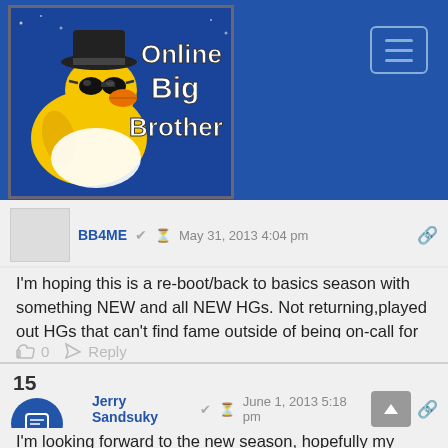[Figure (logo): Online Big Brother website header logo featuring a yellow rubber duck wearing sunglasses and a hat, with text 'Online Big Brother' on a blue background]
Online Big Brother — navigation hamburger button
BB4ME  May 31, 2013 4:04 pm
I'm hoping this is a re-boot/back to basics season with something NEW and all NEW HGs. Not returning,played out HGs that can't find fame outside of being on-call for BB twists.

I don't mind returning HGs coming on to hosts competitions, but that's as far as it should go.
0  Reply
Jerry Sandsuky  June 1, 2013 5:18 pm
I'm looking forward to the new season, hopefully my